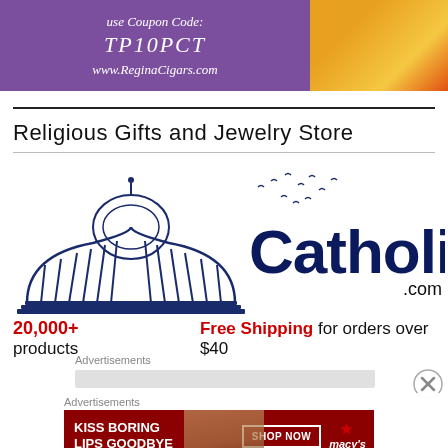[Figure (illustration): Top advertisement banner with purple background showing coupon code TP10PCT and website www.ReginaCigars.com, with orange/yellow floral image on the right side]
Religious Gifts and Jewelry Store
[Figure (logo): CatholicShop.com logo featuring a detailed architectural illustration of a domed building (basilica) with flying birds, and the text 'CatholicShop' in large dark blue bold letters with '.com' below]
20,000+ products    Free Shipping for orders over $40
Advertisements
Advertisements
[Figure (illustration): Macy's advertisement banner with dark red background showing 'KISS BORING LIPS GOODBYE' text with SHOP NOW button and Macy's star logo, and a woman's face with red lipstick]